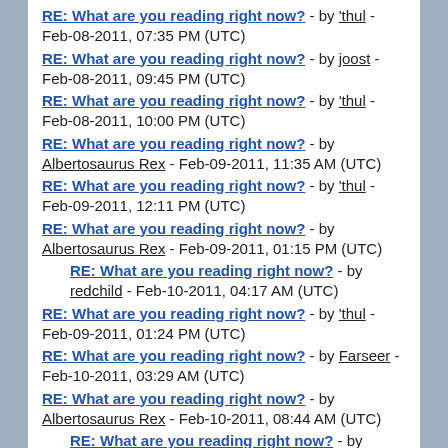RE: What are you reading right now? - by 'thul - Feb-08-2011, 07:35 PM (UTC)
RE: What are you reading right now? - by joost - Feb-08-2011, 09:45 PM (UTC)
RE: What are you reading right now? - by 'thul - Feb-08-2011, 10:00 PM (UTC)
RE: What are you reading right now? - by Albertosaurus Rex - Feb-09-2011, 11:35 AM (UTC)
RE: What are you reading right now? - by 'thul - Feb-09-2011, 12:11 PM (UTC)
RE: What are you reading right now? - by Albertosaurus Rex - Feb-09-2011, 01:15 PM (UTC)
RE: What are you reading right now? - by redchild - Feb-10-2011, 04:17 AM (UTC)
RE: What are you reading right now? - by 'thul - Feb-09-2011, 01:24 PM (UTC)
RE: What are you reading right now? - by Farseer - Feb-10-2011, 03:29 AM (UTC)
RE: What are you reading right now? - by Albertosaurus Rex - Feb-10-2011, 08:44 AM (UTC)
RE: What are you reading right now? - by redchild - Feb-11-2011, 04:32 AM (UTC)
RE: What are you reading right now? - by 'thul - Feb-